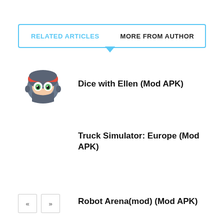RELATED ARTICLES   MORE FROM AUTHOR
Dice with Ellen (Mod APK)
[Figure (illustration): Ninja character emoji with red headband, grey ninja mask, and green eyes]
Truck Simulator: Europe (Mod APK)
Robot Arena(mod) (Mod APK)
« »